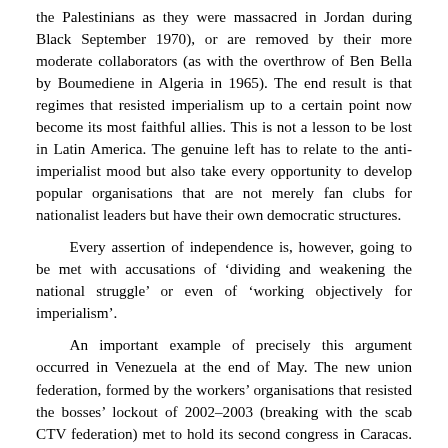the Palestinians as they were massacred in Jordan during Black September 1970), or are removed by their more moderate collaborators (as with the overthrow of Ben Bella by Boumediene in Algeria in 1965). The end result is that regimes that resisted imperialism up to a certain point now become its most faithful allies. This is not a lesson to be lost in Latin America. The genuine left has to relate to the anti-imperialist mood but also take every opportunity to develop popular organisations that are not merely fan clubs for nationalist leaders but have their own democratic structures.
Every assertion of independence is, however, going to be met with accusations of ‘dividing and weakening the national struggle’ or even of ‘working objectively for imperialism’.
An important example of precisely this argument occurred in Venezuela at the end of May. The new union federation, formed by the workers’ organisations that resisted the bosses’ lockout of 2002–2003 (breaking with the scab CTV federation) met to hold its second congress in Caracas. Until now the UNT had been run by various ‘national coordinators’ who hold their positions on the basis of agreement between the various currents which coalesced to form the union three years ago. The aim of the congress was to establish the union on a more fully democratic basis with